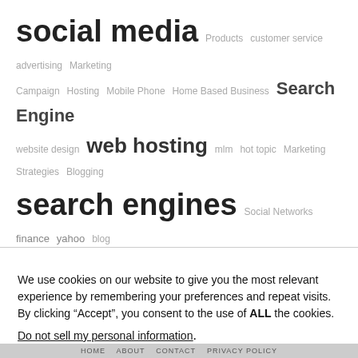[Figure (infographic): Word cloud / tag cloud featuring terms related to internet marketing: social media (largest), search engines, google, web hosting, Facebook, Web Design, Personal Development, social media marketing, Search Engine, Marketing, customer service, advertising, Products, Campaign, Hosting, Mobile Phone, Home Based Business, website design, mlm, hot topic, Marketing Strategies, Blogging, Social Networks, finance, yahoo, blog, Marketing, Social Networking, Business, Affiliate Programs, Business Owners, Search Results]
We use cookies on our website to give you the most relevant experience by remembering your preferences and repeat visits. By clicking “Accept”, you consent to the use of ALL the cookies.
Do not sell my personal information.
HOME   ABOUT   CONTACT   PRIVACY POLICY